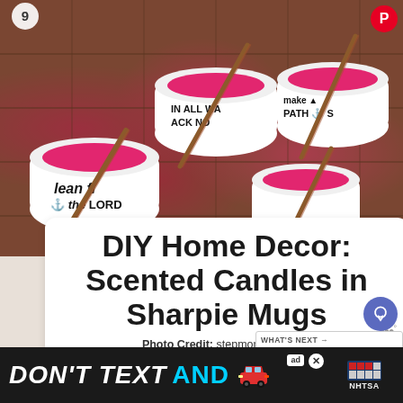[Figure (photo): Photo of white mugs filled with pink/magenta scented candle wax with cinnamon stick wicks, displayed on a dark brown brick surface. The mugs are decorated with Sharpie-written text including phrases like 'lean', 'the LORD', 'IN ALL WAYS ACK NO', 'make PATH'. A Pinterest save button and number 9 appear in the top corners.]
DIY Home Decor: Scented Candles in Sharpie Mugs
Photo Credit: stepmomming.com
Don't you just love decorating mugs with
[Figure (infographic): Ad banner at bottom: dark background with white italic text 'DON'T TEXT' and cyan text 'AND', a red car emoji, an 'ad' badge, a close X button, and NHTSA logo text]
[Figure (infographic): WHAT'S NEXT arrow panel showing thumbnail and text 'Over 100 Frugal...']